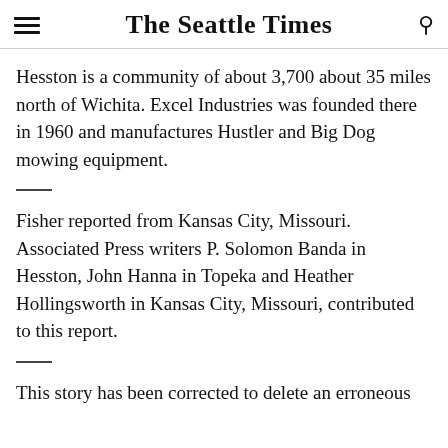The Seattle Times
Hesston is a community of about 3,700 about 35 miles north of Wichita. Excel Industries was founded there in 1960 and manufactures Hustler and Big Dog mowing equipment.
Fisher reported from Kansas City, Missouri. Associated Press writers P. Solomon Banda in Hesston, John Hanna in Topeka and Heather Hollingsworth in Kansas City, Missouri, contributed to this report.
This story has been corrected to delete an erroneous